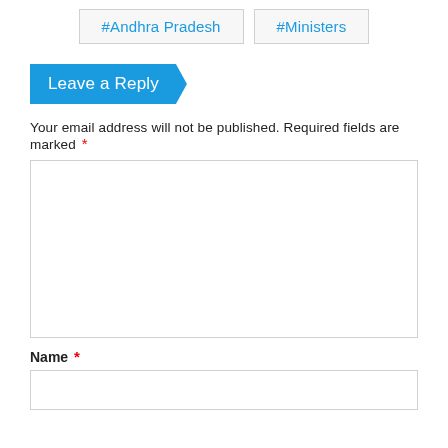#Andhra Pradesh
#Ministers
Leave a Reply
Your email address will not be published. Required fields are marked *
Name *